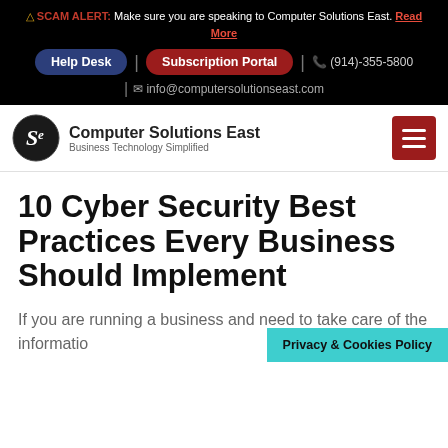⚠ SCAM ALERT: Make sure you are speaking to Computer Solutions East. Read More
Help Desk | Subscription Portal | (914)-355-5800
info@computersolutionseast.com
[Figure (logo): Computer Solutions East logo — circular logo with stylized S and e letters, company name 'Computer Solutions East' and tagline 'Business Technology Simplified']
10 Cyber Security Best Practices Every Business Should Implement
If you are running a business and need to take care of the informatio…